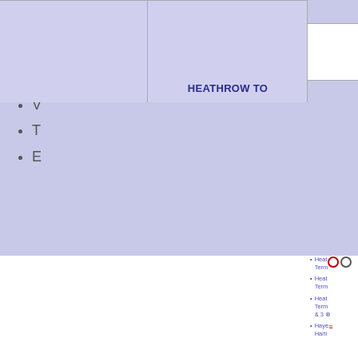ELIZABETH LINE
V
T
E
Heathrow Terminal (icons)
Heathrow Terminal
Heathrow Terminal & 3
Hayes Harlington
HEATHROW TO